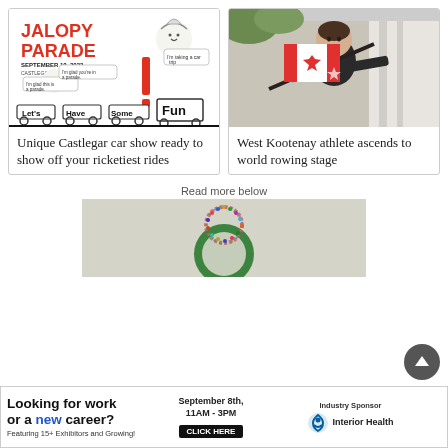[Figure (illustration): Jalopy Parade event poster with cartoon illustrations of fun cars, text: JALOPY PARADE, SEPTEMBER 10, 2022, CASTLEGAR, BC, Let's Have Some Fun]
[Figure (photo): Woman in black shirt holding Canadian flag with maple leaf, smiling, standing under a white tent outdoors]
Unique Castlegar car show ready to show off your ricketiest rides
West Kootenay athlete ascends to world rowing stage
Read more below
[Figure (map): Partial view of a map with colorful circular design element in green and multicolored dots/rings]
[Figure (infographic): Advertisement: Looking for work or a new career? Featuring 15+ Exhibitors and Growing! September 8th, 11AM-3PM, CLICK HERE. Industry Sponsor: Interior Health logo]